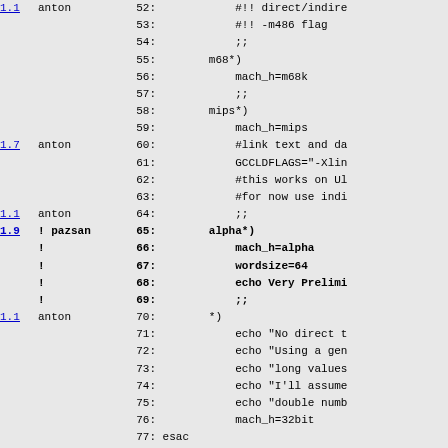| version | author | line | code |
| --- | --- | --- | --- |
| 1.1 | anton | 52: | #!! direct/indire |
|  |  | 53: | #!! -m486 flag |
|  |  | 54: | ;; |
|  |  | 55: |         m68*) |
|  |  | 56: |             mach_h=m68k |
|  |  | 57: |             ;; |
|  |  | 58: |         mips*) |
|  |  | 59: |             mach_h=mips |
| 1.7 | anton | 60: |             #link text and da |
|  |  | 61: |             GCCLDFLAGS="-Xlin |
|  |  | 62: |             #this works on Ul |
|  |  | 63: |             #for now use indi |
| 1.1 | anton | 64: |             ;; |
| 1.9 | ! pazsan | 65: |         alpha*) |
|  | ! | 66: |             mach_h=alpha |
|  | ! | 67: |             wordsize=64 |
|  | ! | 68: |             echo Very Prelimi |
|  | ! | 69: |             ;; |
| 1.1 | anton | 70: |         *) |
|  |  | 71: |             echo "No direct t |
|  |  | 72: |             echo "Using a gen |
|  |  | 73: |             echo "long values |
|  |  | 74: |             echo "I'll assume |
|  |  | 75: |             echo "double numb |
|  |  | 76: |             mach_h=32bit |
|  |  | 77: | esac |
|  |  | 78: |  |
|  |  | 79: | dnl Now a little support for DOS |
|  |  | 80: | AC_SUBST(MAKE_EXE) |
|  |  | 81: | MAKE_EXE="" |
|  |  | 82: |  |